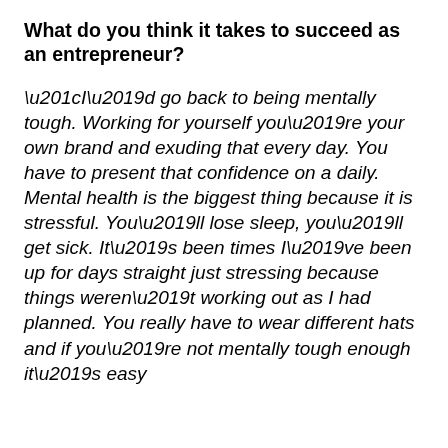What do you think it takes to succeed as an entrepreneur?
“I’d go back to being mentally tough. Working for yourself you’re your own brand and exuding that every day. You have to present that confidence on a daily. Mental health is the biggest thing because it is stressful. You’ll lose sleep, you’ll get sick. It’s been times I’ve been up for days straight just stressing because things weren’t working out as I had planned. You really have to wear different hats and if you’re not mentally tough enough it’s easy